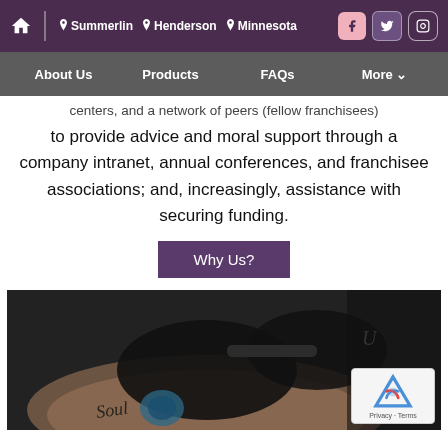Home | Summerlin | Henderson | Minnesota | [Facebook] [Twitter] [Instagram]
About Us | Products | FAQs | More
centers, and a network of peers (fellow franchisees) to provide advice and moral support through a company intranet, annual conferences, and franchisee associations; and, increasingly, assistance with securing funding.
Why Us?
[Figure (photo): Close-up photo of a tattoo artist wearing black gloves working on a tattoo on someone's arm/wrist, with a blue/teal tattoo visible and cursive lettering on the wrist.]